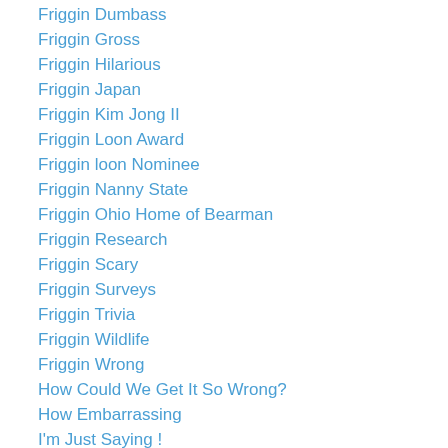Friggin Dumbass
Friggin Gross
Friggin Hilarious
Friggin Japan
Friggin Kim Jong II
Friggin Loon Award
Friggin loon Nominee
Friggin Nanny State
Friggin Ohio Home of Bearman
Friggin Research
Friggin Scary
Friggin Surveys
Friggin Trivia
Friggin Wildlife
Friggin Wrong
How Could We Get It So Wrong?
How Embarrassing
I'm Just Saying !
Join the skeptic club!
Kim Jong II...